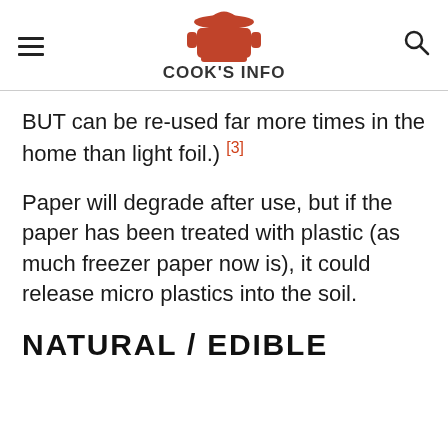COOK'S INFO
BUT can be re-used far more times in the home than light foil.) [3]
Paper will degrade after use, but if the paper has been treated with plastic (as much freezer paper now is), it could release micro plastics into the soil.
NATURAL / EDIBLE WRAPPER